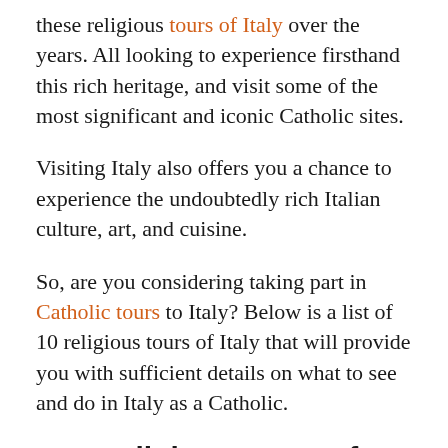these religious tours of Italy over the years. All looking to experience firsthand this rich heritage, and visit some of the most significant and iconic Catholic sites.
Visiting Italy also offers you a chance to experience the undoubtedly rich Italian culture, art, and cuisine.
So, are you considering taking part in Catholic tours to Italy? Below is a list of 10 religious tours of Italy that will provide you with sufficient details on what to see and do in Italy as a Catholic.
Top Religious Tours of Italy